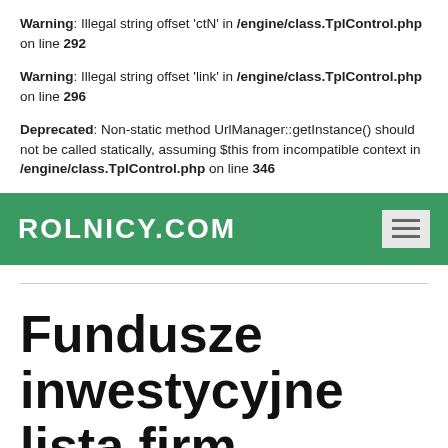Warning: Illegal string offset 'ctN' in /engine/class.TplControl.php on line 292
Warning: Illegal string offset 'link' in /engine/class.TplControl.php on line 296
Deprecated: Non-static method UrlManager::getInstance() should not be called statically, assuming $this from incompatible context in /engine/class.TplControl.php on line 346
[Figure (screenshot): Green navigation bar with ROLNICY.COM branding and hamburger menu toggle button]
Fundusze inwestycyjne lista firm